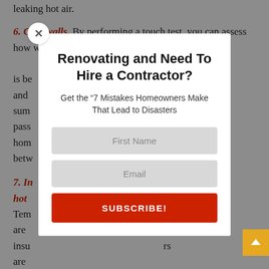leaking hot air.
6. Cold walls. By performing a touch test, you can assess how well-insulated your walls, floors, and ceilings are. During winter months, heat is best kept indoors with dry and properly insulated walls. During summer, your insulation should pass heat away. If your home lacks a thermal barrier between...
7. Inadequate/missing insulation on hot water pipes. Temperature fluctuations in water heater are a common indicator of poor insulation. Proper insulation of your hot water supply pipes are essential, as are roof...
Renovating and Need To Hire a Contractor?
Get the “7 Mistakes Homeowners Make That Lead to Disasters
First Name
Email
SUBSCRIBE!